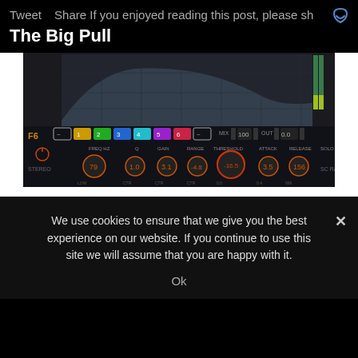Tweet   Share If you enjoyed reading this post, please sh
The Big Pull
[Figure (screenshot): Screenshot of F6 floating band dynamic EQ plugin interface showing spectrum analyzer display with multiple band controls, knobs for Freq Hz, Q, Gain, Range, Threshold, Attack, Release, and Solo parameters, with orange/colored rotary knobs on dark background]
We use cookies to ensure that we give you the best experience on our website. If you continue to use this site we will assume that you are happy with it.
Ok